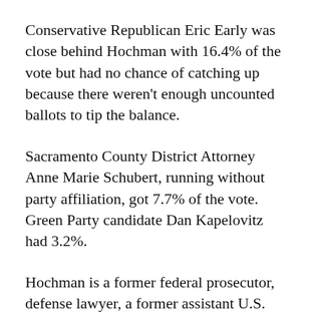Conservative Republican Eric Early was close behind Hochman with 16.4% of the vote but had no chance of catching up because there weren't enough uncounted ballots to tip the balance.
Sacramento County District Attorney Anne Marie Schubert, running without party affiliation, got 7.7% of the vote. Green Party candidate Dan Kapelovitz had 3.2%.
Hochman is a former federal prosecutor, defense lawyer, a former assistant U.S. attorney general. He and the other GOP candidates have focused on concerns by Californians about rising rates of crime and other problems.
"Californians are about to get justice for the criminal...